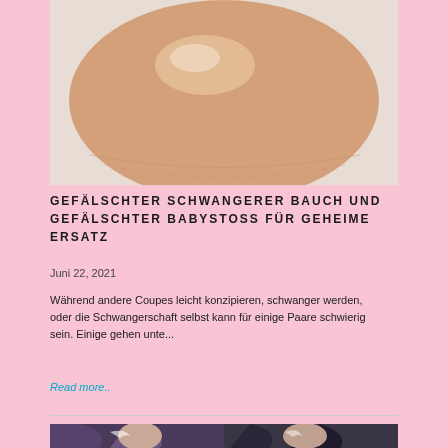[Figure (photo): Close-up photo of a silicone fake pregnant belly prosthetic, peach/skin-toned, rounded shape against a light background.]
GEFÄLSCHTER SCHWANGERER BAUCH UND GEFÄLSCHTER BABYSTOSS FÜR GEHEIME ERSATZ
Juni 22, 2021
Während andere Coupes leicht konzipieren, schwanger werden, oder die Schwangerschaft selbst kann für einige Paare schwierig sein. Einige gehen unte...
Read more..
[Figure (photo): Partial view of illustrated or stylized artwork showing two female figures with dark hair and butterfly face paint/makeup.]